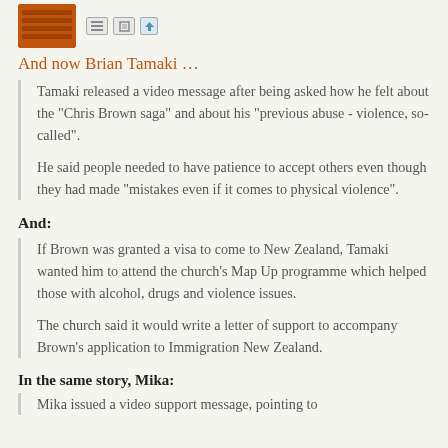[Figure (other): Orange avatar thumbnail image with dark stripe pattern, followed by small icon buttons (list icon, share icon, bookmark icon)]
And now Brian Tamaki …
Tamaki released a video message after being asked how he felt about the "Chris Brown saga" and about his "previous abuse - violence, so-called".
He said people needed to have patience to accept others even though they had made "mistakes even if it comes to physical violence".
And:
If Brown was granted a visa to come to New Zealand, Tamaki wanted him to attend the church's Map Up programme which helped those with alcohol, drugs and violence issues.
The church said it would write a letter of support to accompany Brown's application to Immigration New Zealand.
In the same story, Mika:
Mika issued a video support message, pointing to